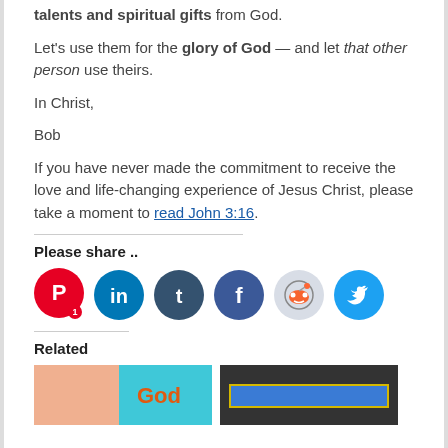talents and spiritual gifts from God.
Let's use them for the glory of God — and let that other person use theirs.
In Christ,
Bob
If you have never made the commitment to receive the love and life-changing experience of Jesus Christ, please take a moment to read John 3:16.
Please share ..
[Figure (infographic): Row of six social media share buttons: Pinterest (with badge '1'), LinkedIn, Tumblr, Facebook, Reddit, Twitter]
Related
[Figure (photo): Two related article thumbnail images side by side]